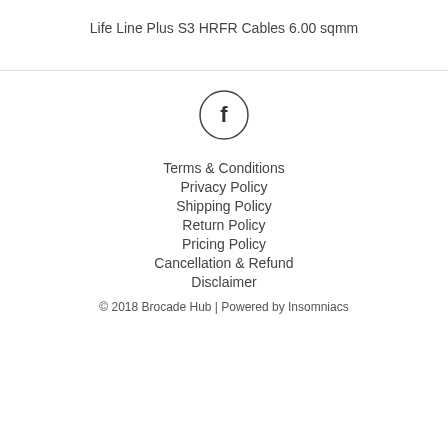Life Line Plus S3 HRFR Cables 6.00 sqmm
[Figure (logo): Facebook icon inside a circle]
Terms & Conditions
Privacy Policy
Shipping Policy
Return Policy
Pricing Policy
Cancellation & Refund
Disclaimer
© 2018 Brocade Hub | Powered by Insomniacs